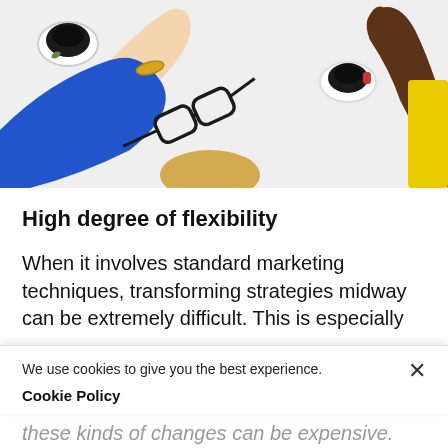[Figure (photo): Overhead view of a table with multiple hands reaching in from different sides, two cups of coffee, eyeglasses, and colorful clothing visible. Light background surface.]
High degree of flexibility
When it involves standard marketing techniques, transforming strategies midway can be extremely difficult. This is especially
We use cookies to give you the best experience.
Cookie Policy
these kinds of changes can be expensive.